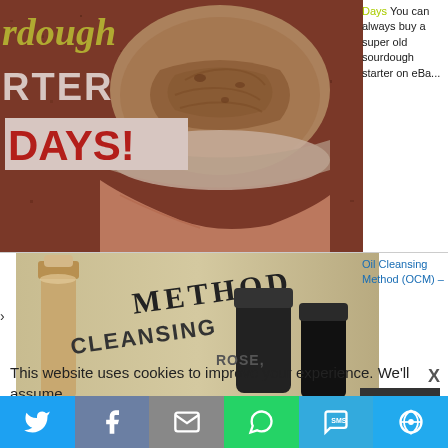[Figure (photo): Sourdough starter in a jar held in a hand, with text overlay showing 'rdough', 'RTER', 'DAYS!' on a granite background]
Days You can always buy a super old sourdough starter on eBa...
[Figure (photo): Oil cleansing method image with bottles and stamp text 'CLEANSING METHOD', 'ROSE']
Oil Cleansing Method (OCM) –
This website uses cookies to improve your experience. We'll assume
X